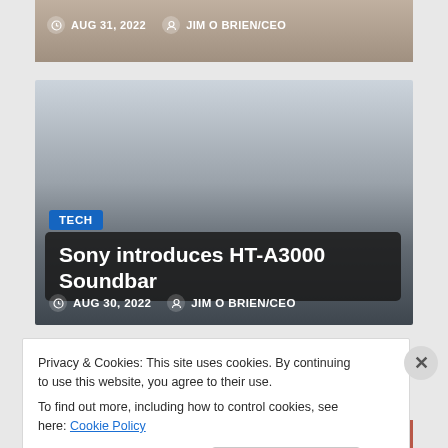[Figure (screenshot): Top portion of an article card with a tan/brown gradient background showing date and author metadata: AUG 31, 2022 and JIM O BRIEN/CEO]
AUG 31, 2022   JIM O BRIEN/CEO
[Figure (screenshot): Article card with gradient background (light blue-grey to dark grey). Contains TECH badge, title 'Sony introduces HT-A3000 Soundbar', and metadata AUG 30, 2022 JIM O BRIEN/CEO]
Sony introduces HT-A3000 Soundbar
AUG 30, 2022   JIM O BRIEN/CEO
Privacy & Cookies: This site uses cookies. By continuing to use this website, you agree to their use.
To find out more, including how to control cookies, see here: Cookie Policy
Close and accept